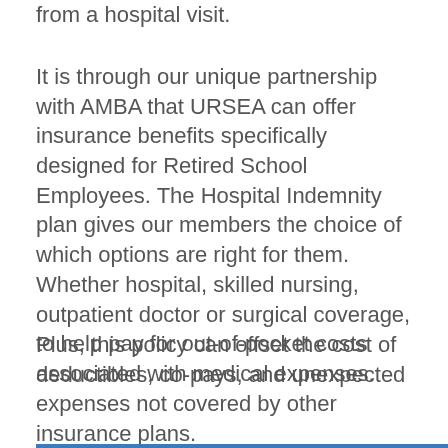from a hospital visit.
It is through our unique partnership with AMBA that URSEA can offer insurance benefits specifically designed for Retired School Employees. The Hospital Indemnity plan gives our members the choice of which options are right for them. Whether hospital, skilled nursing, outpatient doctor or surgical coverage, to help pay for out-of-pocket costs associated with medical expenses.
Plus, this policy can offset the cost of deductibles, co-pays, and unexpected expenses not covered by other insurance plans.